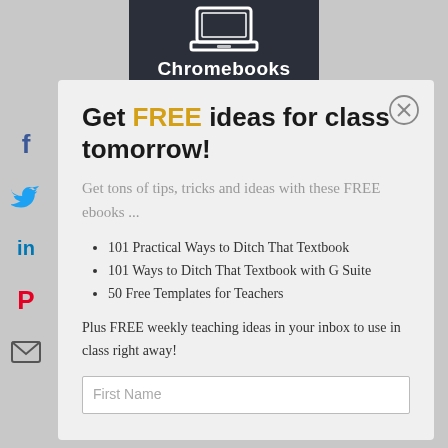[Figure (illustration): Dark banner with a laptop/Chromebook icon and the label 'Chromebooks' in white text on a dark background]
[Figure (illustration): Social media sidebar icons: Facebook (f), Twitter bird, LinkedIn (in), Pinterest (p), Email envelope]
Get FREE ideas for class tomorrow!
Get tons of tips, tricks and ideas with these FREE ebooks ...
101 Practical Ways to Ditch That Textbook
101 Ways to Ditch That Textbook with G Suite
50 Free Templates for Teachers
Plus FREE weekly teaching ideas in your inbox to use in class right away!
First Name